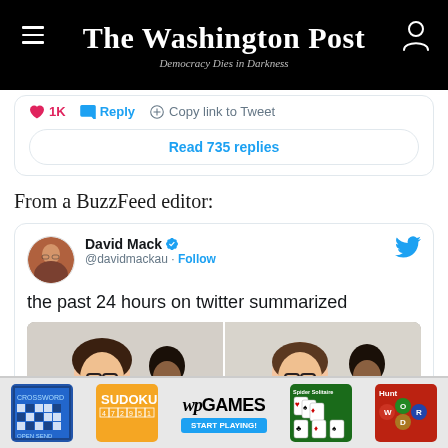The Washington Post — Democracy Dies in Darkness
1K  Reply  Copy link to Tweet
Read 735 replies
From a BuzzFeed editor:
[Figure (screenshot): Embedded tweet from @davidmackau (David Mack, verified) with text 'the past 24 hours on twitter summarized' and a two-panel image showing a woman with glasses in two different expressions alongside other people in an office setting.]
[Figure (screenshot): Advertisement banner for Washington Post Games (wp GAMES) showing Sudoku, Spider Solitaire, Word Hunt and Crossword game thumbnails with 'START PLAYING!' button.]